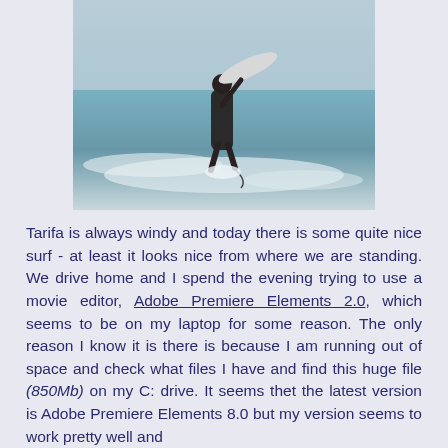[Figure (photo): A surfer walking out of the ocean carrying a surfboard, ocean waves in the background]
Tarifa is always windy and today there is some quite nice surf - at least it looks nice from where we are standing. We drive home and I spend the evening trying to use a movie editor, Adobe Premiere Elements 2.0, which seems to be on my laptop for some reason. The only reason I know it is there is because I am running out of space and check what files I have and find this huge file (850Mb) on my C: drive. It seems thet the latest version is Adobe Premiere Elements 8.0 but my version seems to work pretty well and